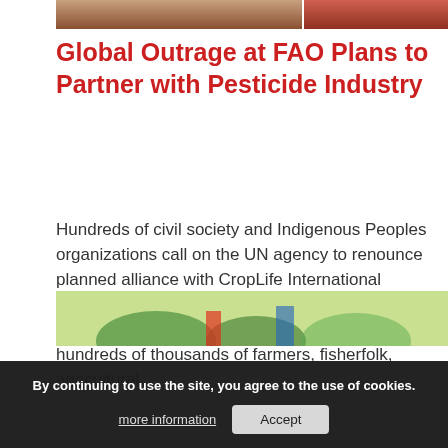[Figure (photo): Top cropped image showing agricultural/farming scene]
Global Outrage at FAO Plans to Partner with Pesticide Industry
Hundreds of civil society and Indigenous Peoples organizations call on the UN agency to renounce planned alliance with CropLife International  Rome, 19 November 2020 – Today 352 organizations in 63 countries representing hundreds of thousands of farmers, fisherfolk, agricultural...
19/11/2020 at 7:04 pm
READ MORE
[Figure (illustration): Bottom illustration showing cartoon/infographic related to democracy and agriculture]
By continuing to use the site, you agree to the use of cookies.
more information   Accept